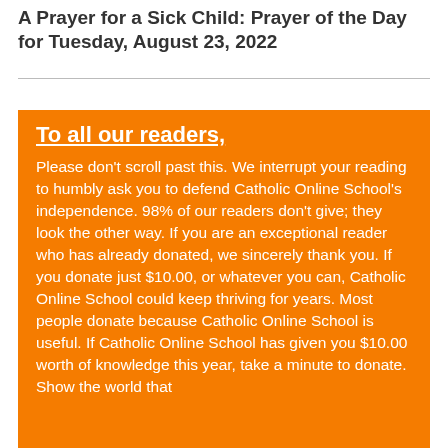A Prayer for a Sick Child: Prayer of the Day for Tuesday, August 23, 2022
To all our readers, Please don't scroll past this. We interrupt your reading to humbly ask you to defend Catholic Online School's independence. 98% of our readers don't give; they look the other way. If you are an exceptional reader who has already donated, we sincerely thank you. If you donate just $10.00, or whatever you can, Catholic Online School could keep thriving for years. Most people donate because Catholic Online School is useful. If Catholic Online School has given you $10.00 worth of knowledge this year, take a minute to donate. Show the world that